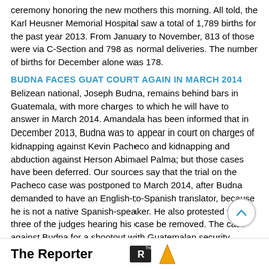ceremony honoring the new mothers this morning. All told, the Karl Heusner Memorial Hospital saw a total of 1,789 births for the past year 2013. From January to November, 813 of those were via C-Section and 798 as normal deliveries. The number of births for December alone was 178.
BUDNA FACES GUAT COURT AGAIN IN MARCH 2014
Belizean national, Joseph Budna, remains behind bars in Guatemala, with more charges to which he will have to answer in March 2014. Amandala has been informed that in December 2013, Budna was to appear in court on charges of kidnapping against Kevin Pacheco and kidnapping and abduction against Herson Abimael Palma; but those cases have been deferred. Our sources say that the trial on the Pacheco case was postponed to March 2014, after Budna demanded to have an English-to-Spanish translator, because he is not a native Spanish-speaker. He also protested that three of the judges hearing his case be removed. The case against Budna for a shootout with Guatemalan security officers has reportedly been dismissed; but he still remains on a 25-year conviction, handed down in August 2012 for the kidnapping of a US teenager, Luis Byron Reyes Onofre. (That case, we understand, is on appeal.)
The Reporter